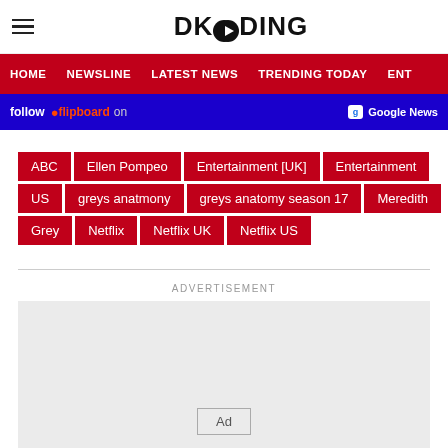DKODING
HOME  NEWSLINE  LATEST NEWS  TRENDING TODAY  ENT
[Figure (screenshot): Social follow bar with blue background showing Follow on Flipboard and Google News buttons]
ABC
Ellen Pompeo
Entertainment [UK]
Entertainment
US
greys anatmony
greys anatomy season 17
Meredith Grey
Netflix
Netflix UK
Netflix US
ADVERTISEMENT
[Figure (other): Advertisement placeholder box with Ad badge]